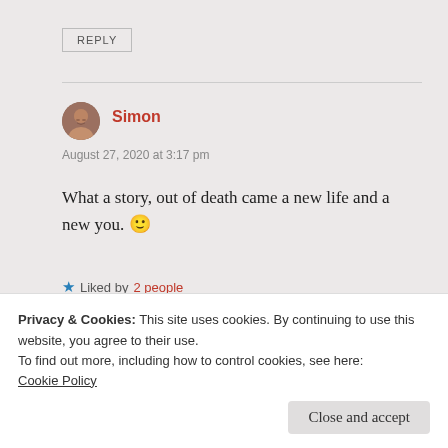REPLY
[Figure (illustration): Circular avatar photo of Simon, a bearded man]
Simon
August 27, 2020 at 3:17 pm
What a story, out of death came a new life and a new you. 🙂
★ Liked by 2 people
REPLY
Privacy & Cookies: This site uses cookies. By continuing to use this website, you agree to their use.
To find out more, including how to control cookies, see here:
Cookie Policy
Close and accept